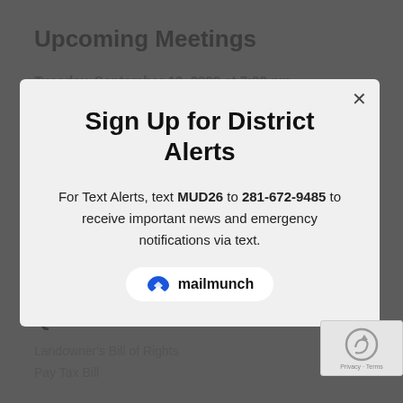Upcoming Meetings
Tuesday, September 13, 2022 at 7:00 pm
Meeting Location:
21603-A Fox Trail Ln., ...Texas 77338
The Board regularly meets on the second (2nd) Tuesday of each month. On the day of the meeting, please call (713) 623-4531 to confirm the meeting has not been cancelled.
Sign Up for District Alerts
For Text Alerts, text MUD26 to 281-672-9485 to receive important news and emergency notifications via text.
[Figure (logo): Mailmunch logo button]
Quick Links
Landowner's Bill of Rights
Pay Tax Bill